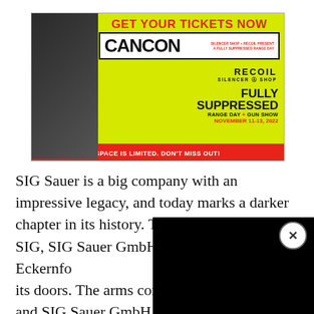[Figure (advertisement): CANCON advertisement on yellow background. Text reads: GET YOUR TICKETS NOW, CANCON, SILENCER SHOP + RECOIL PRESENT A FULLY SUPPRESSED RANGE DAY, RECOIL, SILENCER SHOP, FULLY SUPPRESSED, RANGE DAY + GUN SHOW, NOVEMBER 11-13, 2022, SPACE IS LIMITED. DON'T MISS OUT! Shows person aiming suppressed rifle.]
SIG Sauer is a big company with an impressive legacy, and today marks a darker chapter in its history. The German arm of SIG, SIG Sauer GmbH, located in Eckernfo... its doors. The arms compa... and SIG Sauer GmbH sha... not to increase their invest...